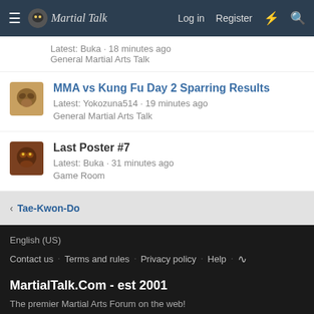Martial Talk — Log in  Register
Latest: Buka · 18 minutes ago
General Martial Arts Talk
MMA vs Kung Fu Day 2 Sparring Results
Latest: Yokozuna514 · 19 minutes ago
General Martial Arts Talk
Last Poster #7
Latest: Buka · 31 minutes ago
Game Room
< Tae-Kwon-Do
English (US)
Contact us  Terms and rules  Privacy policy  Help
MartialTalk.Com - est 2001
The premier Martial Arts Forum on the web!